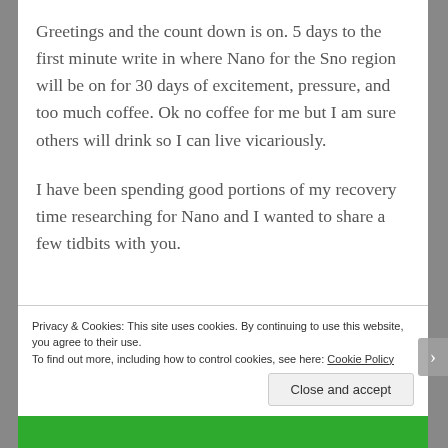Greetings and the count down is on. 5 days to the first minute write in where Nano for the Sno region will be on for 30 days of excitement, pressure, and too much coffee. Ok no coffee for me but I am sure others will drink so I can live vicariously.
I have been spending good portions of my recovery time researching for Nano and I wanted to share a few tidbits with you.
Privacy & Cookies: This site uses cookies. By continuing to use this website, you agree to their use. To find out more, including how to control cookies, see here: Cookie Policy
Close and accept